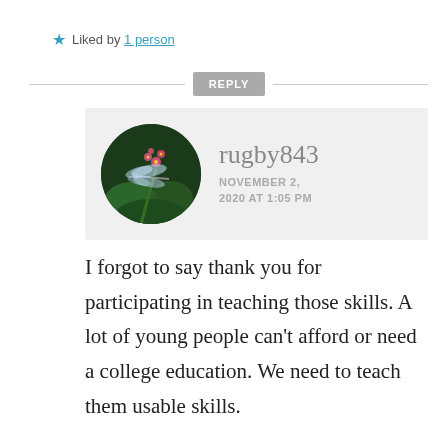★ Liked by 1 person
REPLY
[Figure (photo): Circular avatar showing a dragonfly on pink flowers against a dark green background]
rugby843
NOVEMBER 2, 2020 AT 1:05 PM
I forgot to say thank you for participating in teaching those skills. A lot of young people can't afford or need a college education. We need to teach them usable skills.